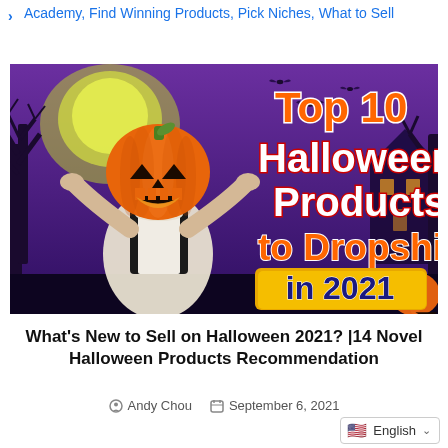Academy, Find Winning Products, Pick Niches, What to Sell
[Figure (illustration): Halloween-themed banner image with a person wearing a jack-o-lantern pumpkin head costume, hands raised, against a purple spooky background with bats and trees. Text overlay reads: Top 10 Halloween Products to Dropship in 2021]
What's New to Sell on Halloween 2021? |14 Novel Halloween Products Recommendation
Andy Chou   September 6, 2021
English